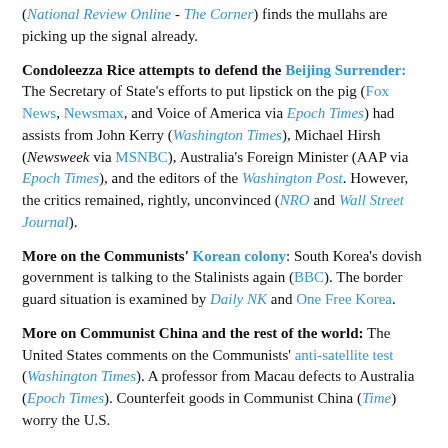(National Review Online - The Corner) finds the mullahs are picking up the signal already.
Condoleezza Rice attempts to defend the Beijing Surrender: The Secretary of State's efforts to put lipstick on the pig (Fox News, Newsmax, and Voice of America via Epoch Times) had assists from John Kerry (Washington Times), Michael Hirsh (Newsweek via MSNBC), Australia's Foreign Minister (AAP via Epoch Times), and the editors of the Washington Post. However, the critics remained, rightly, unconvinced (NRO and Wall Street Journal).
More on the Communists' Korean colony: South Korea's dovish government is talking to the Stalinists again (BBC). The border guard situation is examined by Daily NK and One Free Korea.
More on Communist China and the rest of the world: The United States comments on the Communists' anti-satellite test (Washington Times). A professor from Macau defects to Australia (Epoch Times). Counterfeit goods in Communist China (Time) worry the U.S.